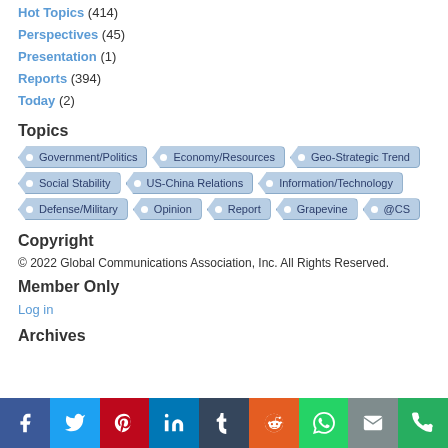Hot Topics (414)
Perspectives (45)
Presentation (1)
Reports (394)
Today (2)
Topics
Government/Politics | Economy/Resources | Geo-Strategic Trend | Social Stability | US-China Relations | Information/Technology | Defense/Military | Opinion | Report | Grapevine | @CS
Copyright
© 2022 Global Communications Association, Inc. All Rights Reserved.
Member Only
Log in
Archives
Social share bar: Facebook, Twitter, Pinterest, LinkedIn, Tumblr, Reddit, WhatsApp, Email, Phone